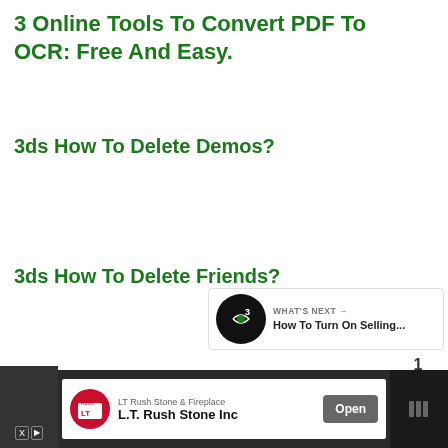3 Online Tools To Convert PDF To OCR: Free And Easy.
3ds How To Delete Demos?
3ds How To Delete Friends?
Airtable How To Delete A View?
[Figure (infographic): Heart/like FAB button (blue circle with white heart icon), count '1', and share FAB button (white circle with share icon)]
[Figure (infographic): What's Next panel with circular logo icon and text 'WHAT'S NEXT → How To Turn On Selling...']
[Figure (infographic): Bottom advertisement bar: LT Rush Stone & Fireplace ad with logo, company name 'L.T. Rush Stone Inc', Open button, and close/skip icons on sides]